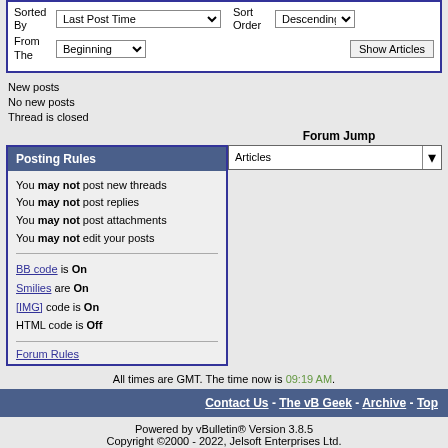[Figure (screenshot): Forum sort controls: Sorted By dropdown (Last Post Time), Sort Order dropdown (Descending), From The dropdown (Beginning), Show Articles button]
New posts
No new posts
Thread is closed
Forum Jump
Posting Rules
You may not post new threads
You may not post replies
You may not post attachments
You may not edit your posts
BB code is On
Smilies are On
[IMG] code is On
HTML code is Off
Forum Rules
All times are GMT. The time now is 09:19 AM.
Contact Us - The vB Geek - Archive - Top
Powered by vBulletin® Version 3.8.5
Copyright ©2000 - 2022, Jelsoft Enterprises Ltd.
Articles powered by GARS 2.1.9 ©2005-2006